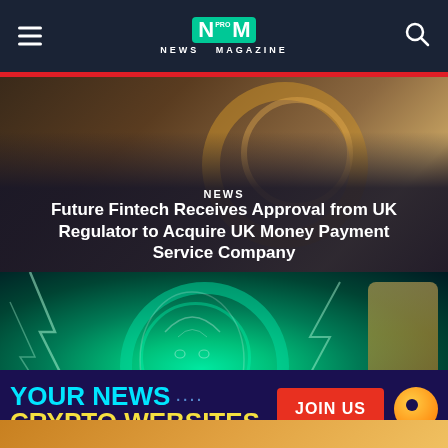NM PRO NEWS MAGAZINE
NEWS
Future Fintech Receives Approval from UK Regulator to Acquire UK Money Payment Service Company
[Figure (photo): Background image showing wooden embroidery hoops on a surface, used as hero image for the article about Future Fintech]
[Figure (illustration): Digital illustration of a glowing green cryptocurrency coin with a person's face design, lightning bolts, and a fantasy character archer on the right side]
YOUR NEWS
CRYPTO WEBSITES
JOIN US